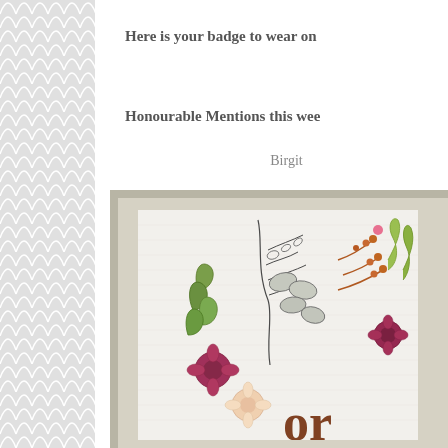[Figure (illustration): Left sidebar with grey scallop/fish scale repeating pattern on light grey background]
Here is your badge to wear on
Honourable Mentions this wee
Birgit
[Figure (photo): Craft card with botanical stamped and die-cut floral elements including leaves, berries, and flowers in green, orange, burgundy and pink on a white textured background, with brown letter shapes at the bottom]